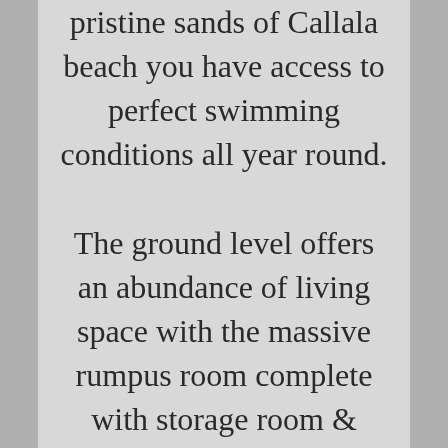pristine sands of Callala beach you have access to perfect swimming conditions all year round. The ground level offers an abundance of living space with the massive rumpus room complete with storage room & Office. The family room is the heart of any home